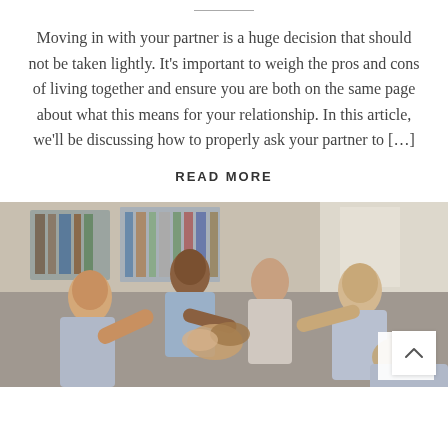Moving in with your partner is a huge decision that should not be taken lightly. It’s important to weigh the pros and cons of living together and ensure you are both on the same page about what this means for your relationship. In this article, we’ll be discussing how to properly ask your partner to […]
READ MORE
[Figure (photo): Group of diverse young people doing a high five together in an office or workspace environment, smiling and celebrating.]